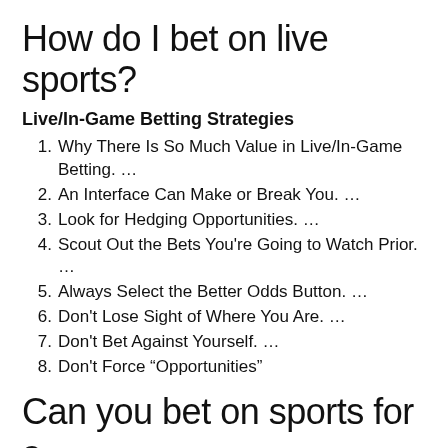How do I bet on live sports?
Live/In-Game Betting Strategies
1. Why There Is So Much Value in Live/In-Game Betting. …
2. An Interface Can Make or Break You. …
3. Look for Hedging Opportunities. …
4. Scout Out the Bets You're Going to Watch Prior. …
5. Always Select the Better Odds Button. …
6. Don't Lose Sight of Where You Are. …
7. Don't Bet Against Yourself. …
8. Don't Force “Opportunities”
Can you bet on sports for a